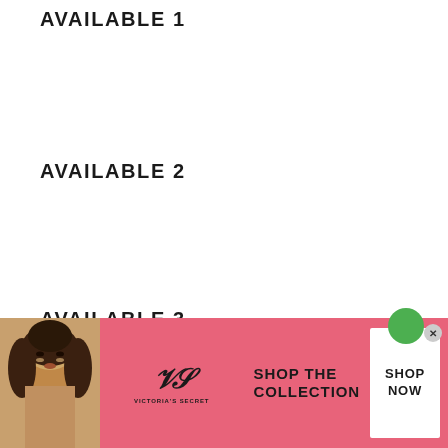AVAILABLE 1
AVAILABLE 2
AVAILABLE 3
[Figure (photo): Victoria's Secret advertisement banner with model, VS logo, 'SHOP THE COLLECTION' text and 'SHOP NOW' button on pink background]